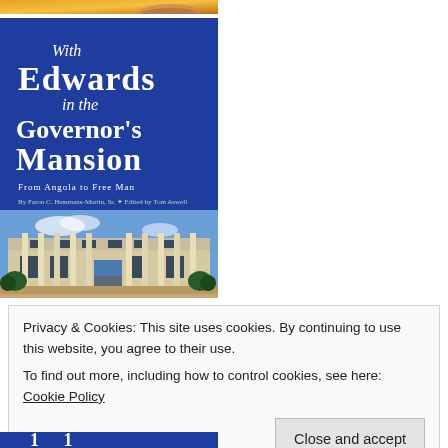[Figure (photo): Top sliver of a book cover with orange/gold background, partially visible]
[Figure (photo): Book cover: 'With Edwards in the Governor's Mansion: From Angola to Free Man' by Faron C. Hemmans-Martin Sr., Edited by Tom Aswell. Dark blue cover with large white title text and photo of a white plantation-style mansion with columns at the bottom.]
Privacy & Cookies: This site uses cookies. By continuing to use this website, you agree to their use.
To find out more, including how to control cookies, see here: Cookie Policy
Close and accept
[Figure (photo): Bottom portion of another book cover in dark blue, partially visible with white text/graphics]